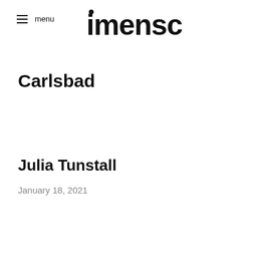≡ menu  imensch
Carlsbad
Julia Tunstall
January 18, 2021